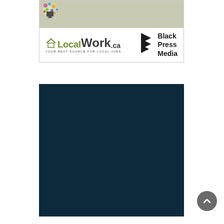[Figure (logo): Top advertisement banner with a sage/khaki background top portion showing colorful digital/tech clip art in upper left, and white bottom portion with LocalWork.ca logo on the left (green and dark text with house icon, tagline 'YOUR BEST SOURCE FOR LOCAL JOBS') and Black Press Media logo on the right (black chevron/arrow icon with bold text 'Black Press Media'). Bordered with thin gray line.]
[Figure (other): Large solid dark navy/teal rectangle block, appears to be a placeholder or collapsed advertisement unit.]